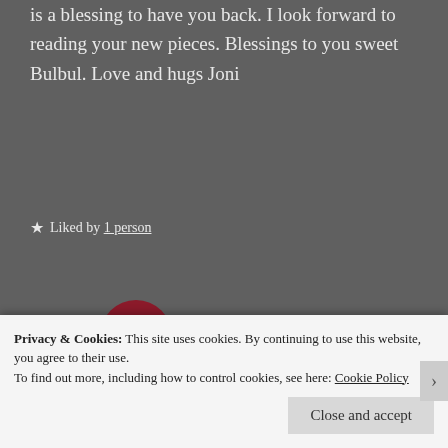is a blessing to have you back. I look forward to reading your new pieces. Blessings to you sweet Bulbul. Love and hugs Joni
★ Liked by 1 person
A.S.
March 28, 2020   Reply
Privacy & Cookies: This site uses cookies. By continuing to use this website, you agree to their use.
To find out more, including how to control cookies, see here: Cookie Policy
Close and accept